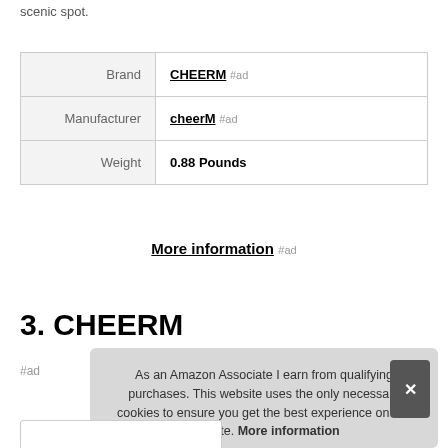scenic spot.
| Brand | CHEERM #ad |
| Manufacturer | cheerM #ad |
| Weight | 0.88 Pounds |
More information #ad
3. CHEERM
#ad
As an Amazon Associate I earn from qualifying purchases. This website uses the only necessary cookies to ensure you get the best experience on our website. More information